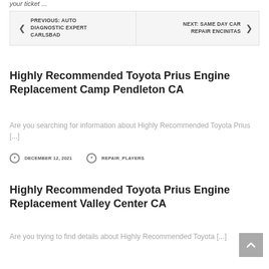your ticket ...
< PREVIOUS: AUTO DIAGNOSTIC EXPERT CARLSBAD   NEXT: SAME DAY CAR REPAIR ENCINITAS >
Highly Recommended Toyota Prius Engine Replacement Camp Pendleton CA
Are you searching for information about Highly Recommended Toyota Prius [...]
DECEMBER 12, 2021   REPAIR_PLAYERS
Highly Recommended Toyota Prius Engine Replacement Valley Center CA
Are you trying to find details about Highly Recommended Toyota [...]